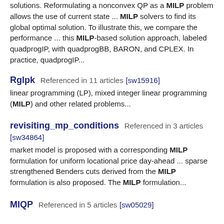solutions. Reformulating a nonconvex QP as a MILP problem allows the use of current state ... MILP solvers to find its global optimal solution. To illustrate this, we compare the performance ... this MILP-based solution approach, labeled quadprogIP, with quadprogBB, BARON, and CPLEX. In practice, quadprogIP...
Rglpk  Referenced in 11 articles  [sw15916]
linear programming (LP), mixed integer linear programming (MILP) and other related problems...
revisiting_mp_conditions  Referenced in 3 articles  [sw34864]
market model is proposed with a corresponding MILP formulation for uniform locational price day-ahead ... sparse strengthened Benders cuts derived from the MILP formulation is also proposed. The MILP formulation...
MIQP  Referenced in 5 articles  [sw05029]